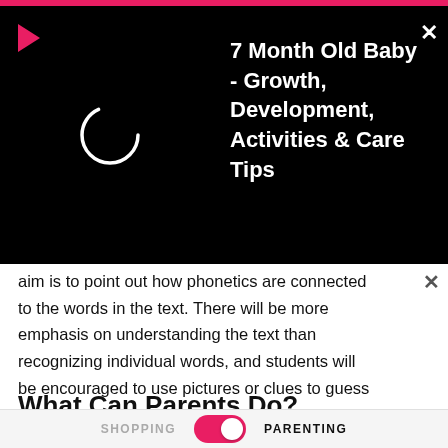[Figure (screenshot): Video notification overlay on black background showing a circular loader icon and play button, with title '7 Month Old Baby - Growth, Development, Activities & Care Tips']
aim is to point out how phonetics are connected to the words in the text. There will be more emphasis on understanding the text than recognizing individual words, and students will be encouraged to use pictures or clues to guess a word they are not familiar with.
What Can Parents Do?
Create the right environment at home by encouraging listening, speaking, reading and writing. When you are
SHOPPING   PARENTING